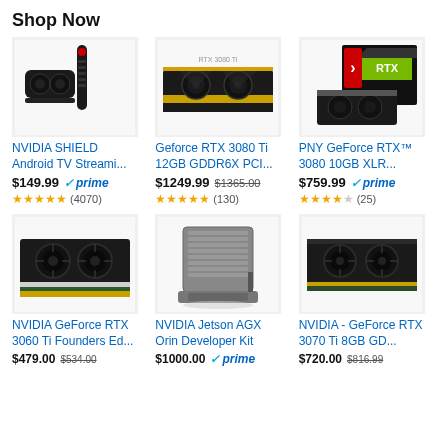Shop Now
[Figure (photo): NVIDIA SHIELD Android TV Streaming device with remote]
NVIDIA SHIELD Android TV Streami...
$149.99 prime ★★★★½ (4070)
[Figure (photo): Geforce RTX 3080 Ti graphics card]
Geforce RTX 3080 Ti 12GB GDDR6X PCI...
$1249.99 $1365.00 ★★★★½ (130)
[Figure (photo): PNY GeForce RTX 3080 10GB XLR graphics card box]
PNY GeForce RTX™ 3080 10GB XLR...
$759.99 prime ★★★★½ (25)
[Figure (photo): NVIDIA GeForce RTX 3060 Ti Founders Edition graphics card]
NVIDIA GeForce RTX 3060 Ti Founders Ed...
$479.00 $534.00
[Figure (photo): NVIDIA Jetson AGX Orin Developer Kit]
NVIDIA Jetson AGX Orin Developer Kit
$1000.00 prime
[Figure (photo): NVIDIA GeForce RTX 3070 Ti 8GB graphics card]
NVIDIA - GeForce RTX 3070 Ti 8GB GD...
$720.00 $816.99